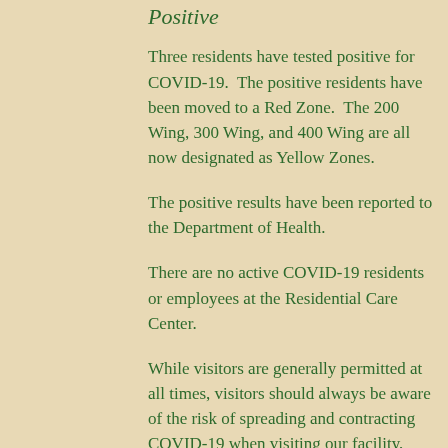Positive
Three residents have tested positive for COVID-19.  The positive residents have been moved to a Red Zone.  The 200 Wing, 300 Wing, and 400 Wing are all now designated as Yellow Zones.
The positive results have been reported to the Department of Health.
There are no active COVID-19 residents or employees at the Residential Care Center.
While visitors are generally permitted at all times, visitors should always be aware of the risk of spreading and contracting COVID-19 when visiting our facility, particularly during periods of